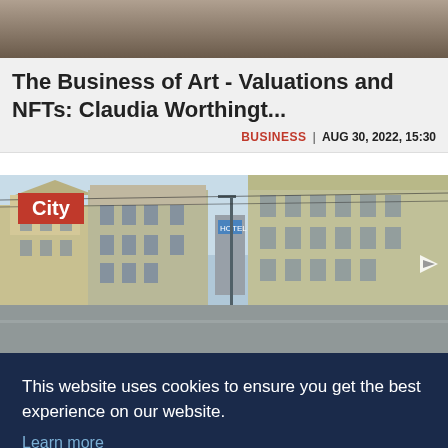[Figure (photo): Top partial photo, dark/muted background showing a person partially visible]
The Business of Art - Valuations and NFTs: Claudia Worthingt...
BUSINESS | AUG 30, 2022, 15:30
[Figure (photo): City street photo with European-style buildings. A red City label overlay is in the top left corner.]
This website uses cookies to ensure you get the best experience on our website. Learn more
Decline   Allow cookies